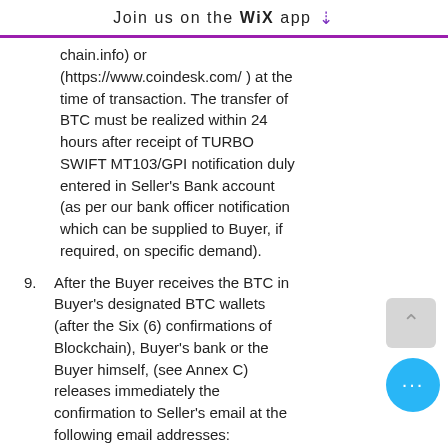Join us on the WiX app
chain.info) or (https://www.coindesk.com/ ) at the time of transaction. The transfer of BTC must be realized within 24 hours after receipt of TURBO SWIFT MT103/GPI notification duly entered in Seller's Bank account (as per our bank officer notification which can be supplied to Buyer, if required, on specific demand).
9. After the Buyer receives the BTC in Buyer's designated BTC wallets (after the Six (6) confirmations of Blockchain), Buyer's bank or the Buyer himself, (see Annex C) releases immediately the confirmation to Seller's email at the following email addresses: hun2399@gmail.com and domain@gmail.com.
10. Upon completion of the...